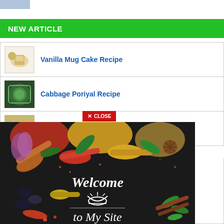NEW ARTICLE
Vanilla Mug Cake Recipe
Cabbage Poriyal Recipe
Million Dollar Chicken Alfredo
a Bread
[Figure (photo): Welcome to My Site spices background image with a CLOSE button overlay]